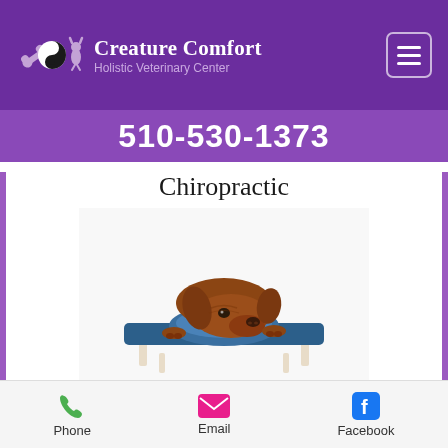Creature Comfort Holistic Veterinary Center
510-530-1373
Chiropractic
[Figure (photo): A brown/red dog (Vizsla or similar breed) resting its chin on a blue chiropractic massage table, looking at the camera]
Chiropractic medicine is a drugless form of therapy based on manual manipulation of the spine, extremities. and skull bone junctions
Phone  Email  Facebook